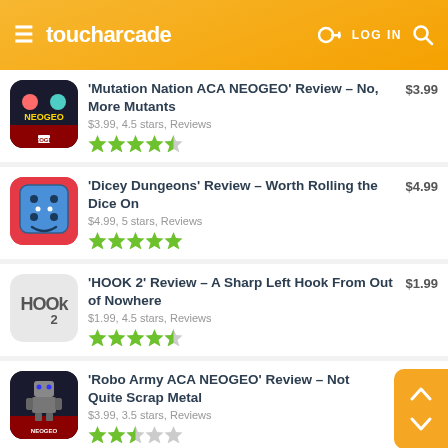toucharcade — LOG IN
'Mutation Nation ACA NEOGEO' Review – No, More Mutants | $3.99, 4.5 stars, Reviews | $3.99
'Dicey Dungeons' Review – Worth Rolling the Dice On | $4.99, 5 stars, Reviews | $4.99
'HOOK 2' Review – A Sharp Left Hook From Out of Nowhere | $1.99, 4.5 stars, Reviews | $1.99
'Robo Army ACA NEOGEO' Review – Not Quite Scrap Metal | $3.99, 3.5 stars, Reviews | $3.99
'Hero Emblems II' Review – There's No Catch | $6.99